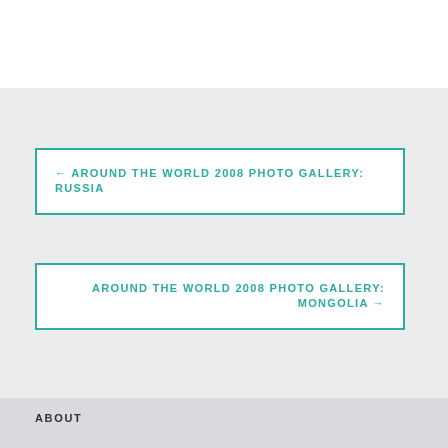← AROUND THE WORLD 2008 PHOTO GALLERY: RUSSIA
AROUND THE WORLD 2008 PHOTO GALLERY: MONGOLIA →
ABOUT